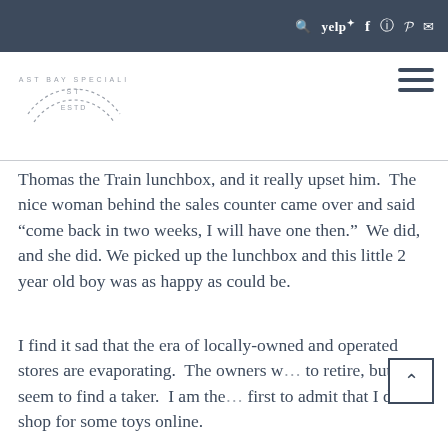Search Yelp Facebook Instagram Pinterest Mail
[Figure (logo): East Bay Specialist ESTD circular stamp logo]
Thomas the Train lunchbox, and it really upset him. The nice woman behind the sales counter came over and said “come back in two weeks, I will have one then.” We did, and she did. We picked up the lunchbox and this little 2 year old boy was as happy as could be.
I find it sad that the era of locally-owned and operated stores are evaporating. The owners w… to retire, but can’t seem to find a taker. I am the… first to admit that I do shop for some toys online.